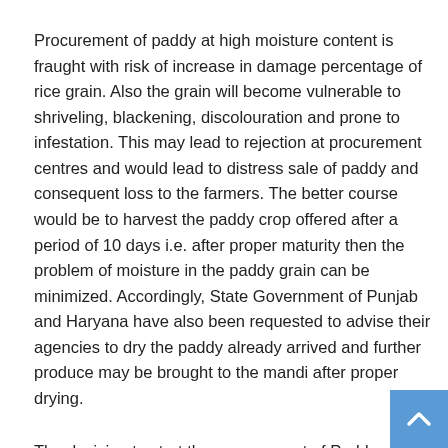Procurement of paddy at high moisture content is fraught with risk of increase in damage percentage of rice grain. Also the grain will become vulnerable to shriveling, blackening, discolouration and prone to infestation. This may lead to rejection at procurement centres and would lead to distress sale of paddy and consequent loss to the farmers. The better course would be to harvest the paddy crop offered after a period of 10 days i.e. after proper maturity then the problem of moisture in the paddy grain can be minimized. Accordingly, State Government of Punjab and Haryana have also been requested to advise their agencies to dry the paddy already arrived and further produce may be brought to the mandi after proper drying.
The decision to start the procurement of Paddy under MSP from 11th October 2021 in Punjab and Haryana is in the overall interest of farmers and consumers as well so as to